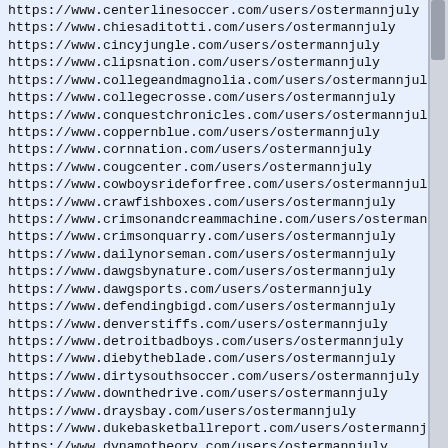https://www.centerlinesoccer.com/users/ostermannjuly
https://www.chiesaditotti.com/users/ostermannjuly
https://www.cincyjungle.com/users/ostermannjuly
https://www.clipsnation.com/users/ostermannjuly
https://www.collegeandmagnolia.com/users/ostermannjuly
https://www.collegecrosse.com/users/ostermannjuly
https://www.conquestchronicles.com/users/ostermannjuly
https://www.coppernblue.com/users/ostermannjuly
https://www.cornnation.com/users/ostermannjuly
https://www.cougcenter.com/users/ostermannjuly
https://www.cowboysrideforfree.com/users/ostermannjuly
https://www.crawfishboxes.com/users/ostermannjuly
https://www.crimsonandcreammachine.com/users/ostermannjuly
https://www.crimsonquarry.com/users/ostermannjuly
https://www.dailynorseman.com/users/ostermannjuly
https://www.dawgsbynature.com/users/ostermannjuly
https://www.dawgsports.com/users/ostermannjuly
https://www.defendingbigd.com/users/ostermannjuly
https://www.denverstiffs.com/users/ostermannjuly
https://www.detroitbadboys.com/users/ostermannjuly
https://www.diebytheblade.com/users/ostermannjuly
https://www.dirtysouthsoccer.com/users/ostermannjuly
https://www.downthedrive.com/users/ostermannjuly
https://www.draysbay.com/users/ostermannjuly
https://www.dukebasketballreport.com/users/ostermannjuly
https://www.dynamotheory.com/users/ostermannjuly
https://www.eightysixforever.com/users/ostermannjuly
https://www.epluribusloonum.com/users/ostermannjuly
https://www.everydayshouldbesaturday.com/users/ostermannjul
https://www.faketeams.com/users/ostermannjuly